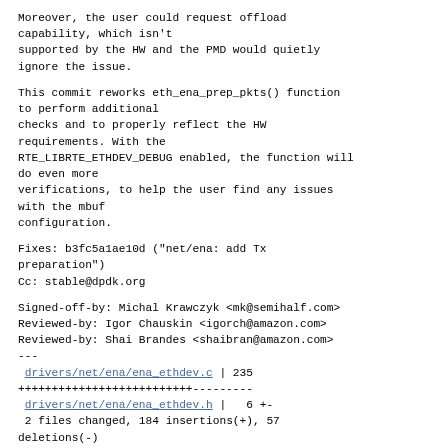Moreover, the user could request offload
capability, which isn't
supported by the HW and the PMD would quietly
ignore the issue.
This commit reworks eth_ena_prep_pkts() function
to perform additional
checks and to properly reflect the HW
requirements. With the
RTE_LIBRTE_ETHDEV_DEBUG enabled, the function will
do even more
verifications, to help the user find any issues
with the mbuf
configuration.
Fixes: b3fc5a1ae10d ("net/ena: add Tx
preparation")
Cc: stable@dpdk.org
Signed-off-by: Michal Krawczyk <mk@semihalf.com>
Reviewed-by: Igor Chauskin <igorch@amazon.com>
Reviewed-by: Shai Brandes <shaibran@amazon.com>
---
 drivers/net/ena/ena_ethdev.c | 235
++++++++++++++++++++++++++---------
 drivers/net/ena/ena_ethdev.h |   6 +-
 2 files changed, 184 insertions(+), 57
deletions(-)